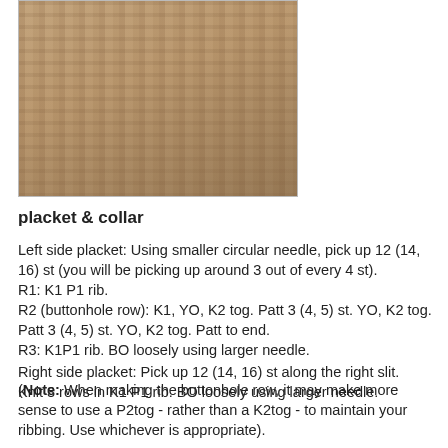[Figure (photo): Close-up photo of chunky knit fabric texture in beige/tan color, showing thick twisted stitches, with a wooden post or tree visible behind.]
placket & collar
Left side placket: Using smaller circular needle, pick up 12 (14, 16) st (you will be picking up around 3 out of every 4 st).
R1: K1 P1 rib.
R2 (buttonhole row): K1, YO, K2 tog. Patt 3 (4, 5) st. YO, K2 tog. Patt 3 (4, 5) st. YO, K2 tog. Patt to end.
R3: K1P1 rib. BO loosely using larger needle.

(Note: When making the buttonhole row, it may make more sense to use a P2tog - rather than a K2tog - to maintain your ribbing. Use whichever is appropriate).
Right side placket: Pick up 12 (14, 16) st along the right slit. Knit 3 rows in K1 P1 rib. BO loosely using larger needle.